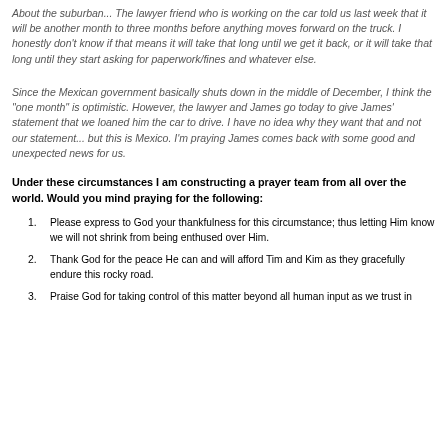About the suburban... The lawyer friend who is working on the car told us last week that it will be another month to three months before anything moves forward on the truck.  I honestly don't know if that means it will take that long until we get it back, or it will take that long until they start asking for paperwork/fines and whatever else.
Since the Mexican government basically shuts down in the middle of December, I think the "one month" is optimistic.  However, the lawyer and James go today to give James' statement that we loaned him the car to drive.  I have no idea why they want that and not our statement... but this is Mexico.  I'm praying James comes back with some good and unexpected news for us.
Under these circumstances I am constructing a prayer team from all over the world.  Would you mind praying for the following:
Please express to God your thankfulness for this circumstance; thus letting Him know we will not shrink from being enthused over Him.
Thank God for the peace He can and will afford Tim and Kim as they gracefully endure this rocky road.
Praise God for taking control of this matter beyond all human input as we trust in